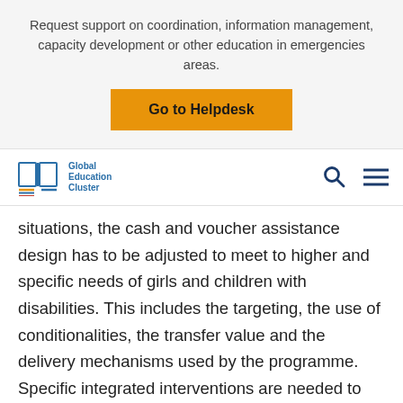Request support on coordination, information management, capacity development or other education in emergencies areas.
Go to Helpdesk
[Figure (logo): Global Education Cluster logo with open book icon and navigation icons (search and hamburger menu)]
situations, the cash and voucher assistance design has to be adjusted to meet to higher and specific needs of girls and children with disabilities. This includes the targeting, the use of conditionalities, the transfer value and the delivery mechanisms used by the programme. Specific integrated interventions are needed to address the socio-cultural, protection and education service related barriers these children encounter in their access to education.